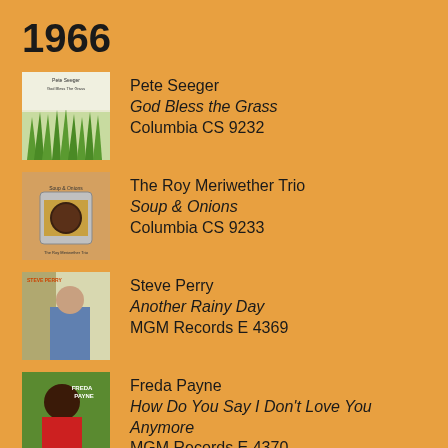1966
Pete Seeger / God Bless the Grass / Columbia CS 9232
The Roy Meriwether Trio / Soup & Onions / Columbia CS 9233
Steve Perry / Another Rainy Day / MGM Records E 4369
Freda Payne / How Do You Say I Don't Love You Anymore / MGM Records E 4370
The Mothers of Invention / Freak Out!